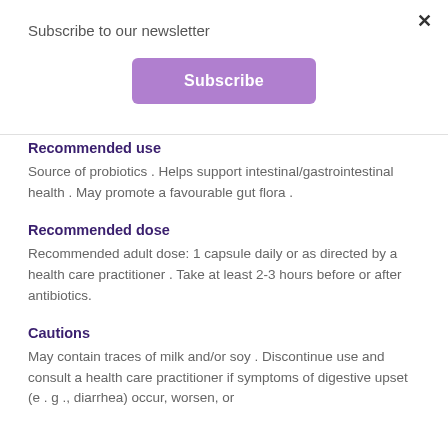Subscribe to our newsletter
Subscribe
Recommended use
Source of probiotics . Helps support intestinal/gastrointestinal health . May promote a favourable gut flora .
Recommended dose
Recommended adult dose: 1 capsule daily or as directed by a health care practitioner . Take at least 2-3 hours before or after antibiotics.
Cautions
May contain traces of milk and/or soy . Discontinue use and consult a health care practitioner if symptoms of digestive upset (e . g ., diarrhea) occur, worsen, or